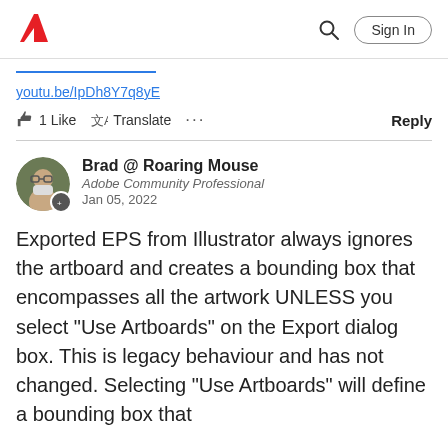Adobe | Sign In
youtu.be/IpDh8Y7q8yE
1 Like   Translate   ...   Reply
Brad @ Roaring Mouse
Adobe Community Professional
Jan 05, 2022
Exported EPS from Illustrator always ignores the artboard and creates a bounding box that encompasses all the artwork UNLESS you select "Use Artboards" on the Export dialog box. This is legacy behaviour and has not changed. Selecting "Use Artboards" will define a bounding box that